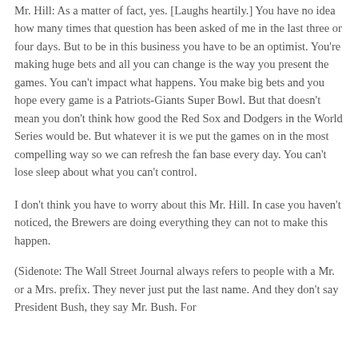Mr. Hill: As a matter of fact, yes. [Laughs heartily.] You have no idea how many times that question has been asked of me in the last three or four days. But to be in this business you have to be an optimist. You're making huge bets and all you can change is the way you present the games. You can't impact what happens. You make big bets and you hope every game is a Patriots-Giants Super Bowl. But that doesn't mean you don't think how good the Red Sox and Dodgers in the World Series would be. But whatever it is we put the games on in the most compelling way so we can refresh the fan base every day. You can't lose sleep about what you can't control.
I don't think you have to worry about this Mr. Hill. In case you haven't noticed, the Brewers are doing everything they can not to make this happen.
(Sidenote: The Wall Street Journal always refers to people with a Mr. or a Mrs. prefix. They never just put the last name. And they don't say President Bush, they say Mr. Bush. For